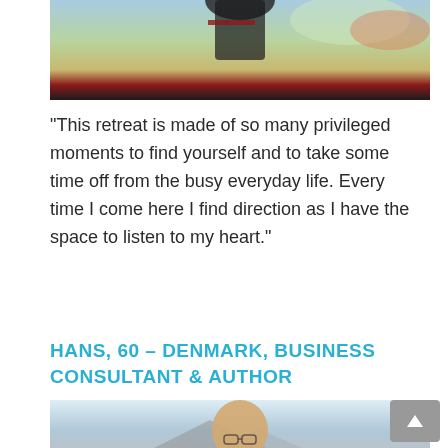[Figure (photo): Photo of a woman outdoors at a scenic overlook, wearing a black top and red/maroon skirt, mountains and greenery in background]
"This retreat is made of so many privileged moments to find yourself and to take some time off from the busy everyday life. Every time I come here I find direction as I have the space to listen to my heart."
HANS, 60 – DENMARK, BUSINESS CONSULTANT & AUTHOR
[Figure (photo): Photo of a bald man with glasses smiling, outdoors with mountains in the background]